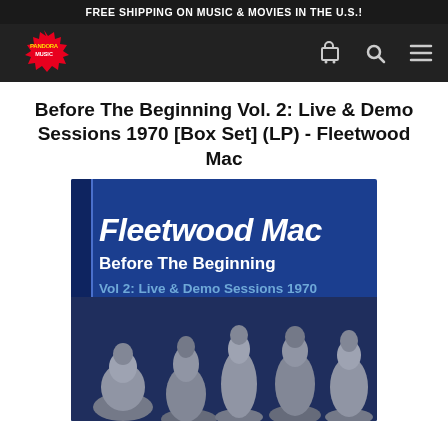FREE SHIPPING ON MUSIC & MOVIES IN THE U.S.!
[Figure (logo): Pandora Music store logo — red and yellow starburst design with text]
Before The Beginning Vol. 2: Live & Demo Sessions 1970 [Box Set] (LP) - Fleetwood Mac
[Figure (photo): Album cover for Fleetwood Mac Before The Beginning Vol 2: Live & Demo Sessions 1970. Dark blue background with white italic band name, subtitle text, and a black and white photo of the band members.]